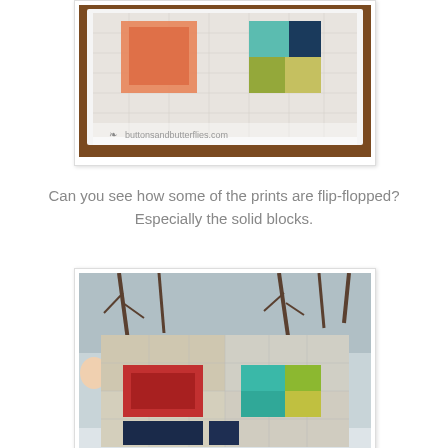[Figure (photo): Top-down view of a quilt laid flat on a wooden table. The quilt has a light gray/white patchwork background with two colored blocks: a large orange square on the left and a multi-colored (teal, green, gray) square on the right. A watermark reads 'buttonsandbutterflies.com'.]
Can you see how some of the prints are flip-flopped? Especially the solid blocks.
[Figure (photo): A person holding up a quilt outdoors in winter with bare trees and snow visible. The quilt has a beige/tan and light gray patchwork background with two colored blocks: a red/crimson block on the left and a teal/green block on the right, with a dark navy strip at the bottom.]